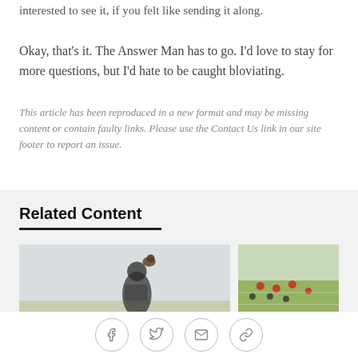interested to see it, if you felt like sending it along.
Okay, that's it. The Answer Man has to go. I'd love to stay for more questions, but I'd hate to be caught bloviating.
This article has been reproduced in a new format and may be missing content or contain faulty links. Please use the Contact Us link in our site footer to report an issue.
Related Content
[Figure (photo): Two related content article thumbnail images showing sports/football scenes]
Social sharing icons: Facebook, Twitter, Email, Link